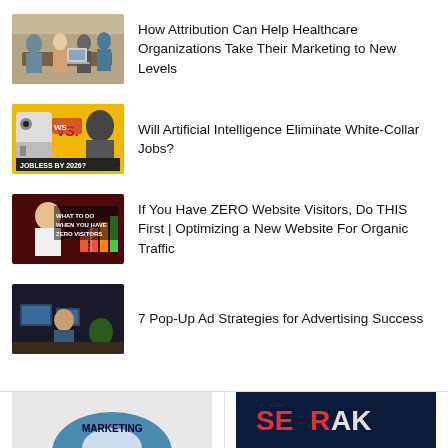How Attribution Can Help Healthcare Organizations Take Their Marketing to New Levels
Will Artificial Intelligence Eliminate White-Collar Jobs?
If You Have ZERO Website Visitors, Do THIS First | Optimizing a New Website For Organic Traffic
7 Pop-Up Ad Strategies for Advertising Success
[Figure (screenshot): Bottom strip with two partially visible thumbnail cards]
[Figure (screenshot): Right bottom card with SEMRK/SERRK logo visible]